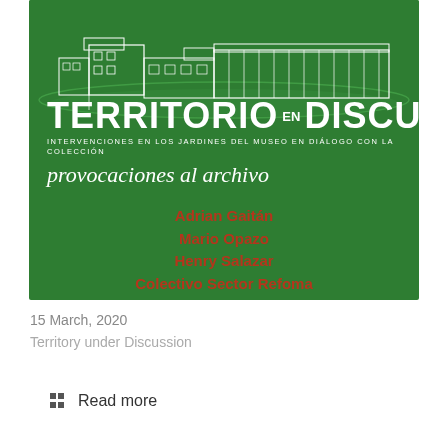[Figure (illustration): Book/event cover poster with green background showing architectural line drawing of a museum building complex at top. Title reads 'TERRITORIO EN DISCUSIÓN' in large white uppercase letters, subtitle 'INTERVENCIONES EN LOS JARDINES DEL MUSEO EN DIÁLOGO CON LA COLECCIÓN', italic white text 'provocaciones al archivo', followed by artist names in dark red: Adrian Gaitán, Mario Opazo, Henry Salazar, Colectivo Sector Refoma, and white text 'Curadora: Yohanna Roa']
15 March, 2020
Territory under Discussion
Read more